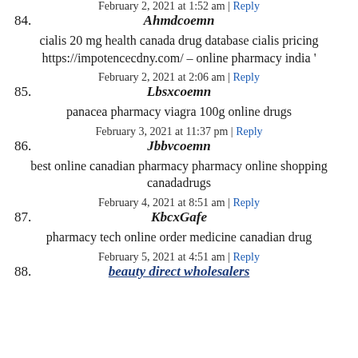84. Ahmdcoemn — February 2, 2021 at 1:52 am | Reply
cialis 20 mg health canada drug database cialis pricing https://impotencecdny.com/ – online pharmacy india '
85. Lbsxcoemn — February 2, 2021 at 2:06 am | Reply
panacea pharmacy viagra 100g online drugs
86. Jbbvcoemn — February 3, 2021 at 11:37 pm | Reply
best online canadian pharmacy pharmacy online shopping canadadrugs
87. KbcxGafe — February 4, 2021 at 8:51 am | Reply
pharmacy tech online order medicine canadian drug
88. beauty direct wholesalers — February 5, 2021 at 4:51 am | Reply